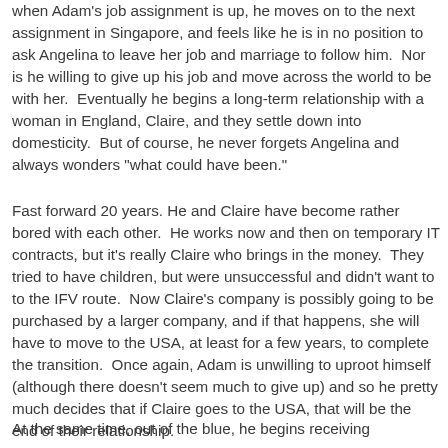when Adam's job assignment is up, he moves on to the next assignment in Singapore, and feels like he is in no position to ask Angelina to leave her job and marriage to follow him.  Nor is he willing to give up his job and move across the world to be with her.  Eventually he begins a long-term relationship with a woman in England, Claire, and they settle down into domesticity.  But of course, he never forgets Angelina and always wonders "what could have been."
Fast forward 20 years. He and Claire have become rather bored with each other.  He works now and then on temporary IT contracts, but it's really Claire who brings in the money.  They tried to have children, but were unsuccessful and didn't want to to the IFV route.  Now Claire's company is possibly going to be purchased by a larger company, and if that happens, she will have to move to the USA, at least for a few years, to complete the transition.  Once again, Adam is unwilling to uproot himself (although there doesn't seem much to give up) and so he pretty much decides that if Claire goes to the USA, that will be the end of their relationship.
At the same time, out of the blue, he begins receiving